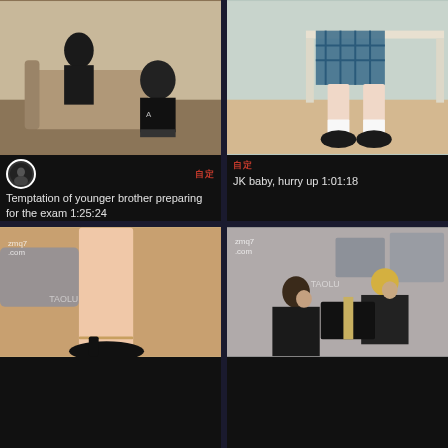[Figure (photo): Video thumbnail showing two people in a room, one wearing a black shirt]
Temptation of younger brother preparing for the exam 1:25:24
[Figure (photo): Video thumbnail showing legs in a plaid skirt near a desk]
JK baby, hurry up 1:01:18
[Figure (photo): Video thumbnail showing legs and high heels, zmq7.com watermark]
[Figure (photo): Video thumbnail showing two women in a room, TAOLU watermark, zmq7.com]